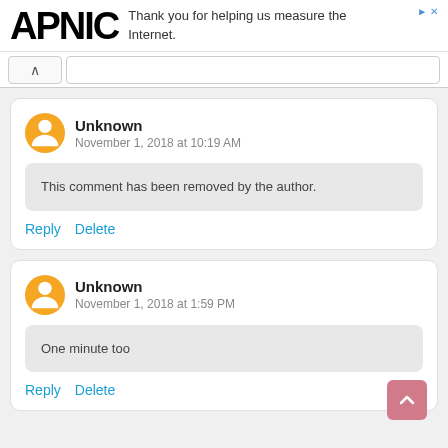APNIC — Thank you for helping us measure the Internet.
Unknown
November 1, 2018 at 10:19 AM
This comment has been removed by the author.
Reply   Delete
Unknown
November 1, 2018 at 1:59 PM
One minute too
Reply   Delete